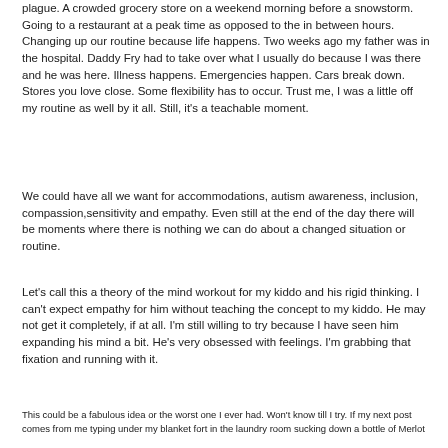plague.  A crowded grocery store on a weekend morning before a snowstorm. Going to a restaurant at a peak time as opposed to the in between hours. Changing up our routine because life happens. Two weeks ago my father was in the hospital.  Daddy Fry had to take over what I usually do because I was there and he was here.  Illness happens.  Emergencies happen.  Cars break down.  Stores you love close.  Some flexibility has to occur.  Trust me, I was a little off my routine as well by it all.  Still, it's a teachable moment.
We could have all we want for accommodations, autism awareness, inclusion, compassion,sensitivity and empathy. Even still at the end of the day there will be moments where there is nothing we can do about a changed situation or routine.
Let's call this a theory of the mind workout for my kiddo and his rigid thinking.  I can't expect empathy for him without teaching the concept to my kiddo.  He may not get it completely, if at all.  I'm still willing to try because I have seen him expanding his mind a bit.  He's very obsessed with feelings.  I'm grabbing that fixation and running with it.
This could be a fabulous idea or the worst one I ever had.  Won't know till I try.  If my next post comes from me typing under my blanket fort in the laundry room sucking down a bottle of Merlot